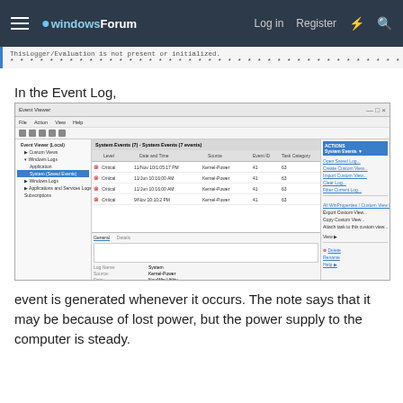windowsForum — Log in   Register
* * * * * * * * * * * * * * * * * * * * * * * * * * * * * * * * * * * * * * * * * * * * * * * * * *
In the Event Log,
[Figure (screenshot): Windows Event Viewer screenshot showing multiple Critical error events with date/time, Source (Kernel-Power), Event ID, and Task Category columns. Bottom pane shows event detail with fields including Log Name, Source, Date, Event ID, Task Category, and More Information link.]
event is generated whenever it occurs. The note says that it may be because of lost power, but the power supply to the computer is steady.